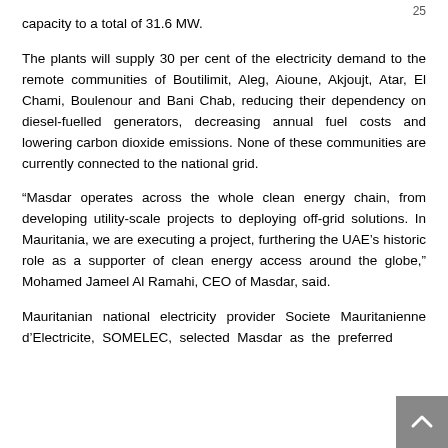capacity to a total of 31.6 MW.
The plants will supply 30 per cent of the electricity demand to the remote communities of Boutilimit, Aleg, Aioune, Akjoujt, Atar, El Chami, Boulenour and Bani Chab, reducing their dependency on diesel-fuelled generators, decreasing annual fuel costs and lowering carbon dioxide emissions. None of these communities are currently connected to the national grid.
“Masdar operates across the whole clean energy chain, from developing utility-scale projects to deploying off-grid solutions. In Mauritania, we are executing a project, furthering the UAE’s historic role as a supporter of clean energy access around the globe,” Mohamed Jameel Al Ramahi, CEO of Masdar, said.
Mauritanian national electricity provider Societe Mauritanienne d’Electricite, SOMELEC, selected Masdar as the preferred